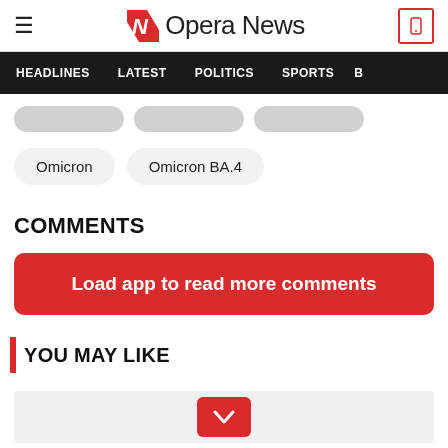Opera News
HEADLINES   LATEST   POLITICS   SPORTS
Omicron
Omicron BA.4
COMMENTS
Load app to read more comments
YOU MAY LIKE